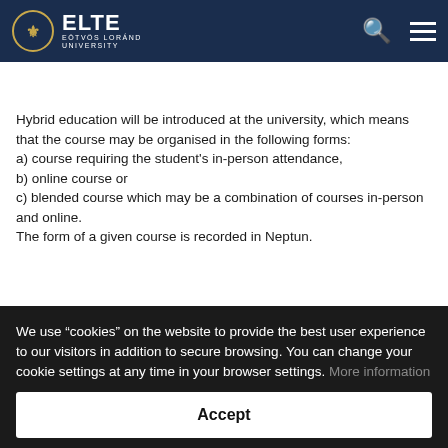ELTE EÖTVÖS LORÁND UNIVERSITY
HOW WILL START THE 2020/2021 ACADEMIC YEAR?
Hybrid education will be introduced at the university, which means that the course may be organised in the following forms:
a) course requiring the student's in-person attendance,
b) online course or
c) blended course which may be a combination of courses in-person and online.
The form of a given course is recorded in Neptun.
We use “cookies” on the website to provide the best user experience to our visitors in addition to secure browsing. You can change your cookie settings at any time in your browser settings. More information
Accept